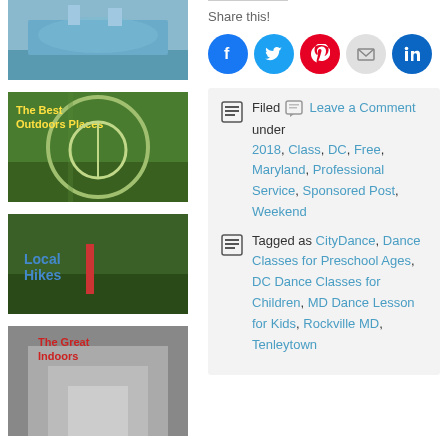[Figure (photo): Thumbnail image of outdoor waterfront scene]
[Figure (photo): Thumbnail image with text 'The Best Outdoors Places' showing a child on rope swing]
[Figure (photo): Thumbnail image with text 'Local Hikes' showing a forest trail]
[Figure (photo): Thumbnail image with text 'The Great Indoors' showing an interior architectural view]
Share this!
[Figure (infographic): Social sharing buttons: Facebook, Twitter, Pinterest, Email, LinkedIn]
Filed Leave a Comment under 2018, Class, DC, Free, Maryland, Professional Service, Sponsored Post, Weekend
Tagged as CityDance, Dance Classes for Preschool Ages, DC Dance Classes for Children, MD Dance Lesson for Kids, Rockville MD, Tenleytown